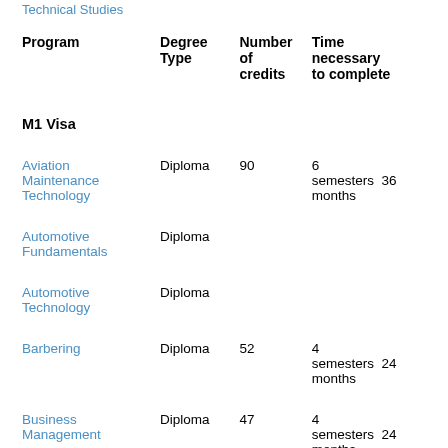Technical Studies
| Program | Degree Type | Number of credits | Time necessary to complete |
| --- | --- | --- | --- |
| M1 Visa |  |  |  |
| Aviation Maintenance Technology | Diploma | 90 | 6 semesters  36 months |
| Automotive Fundamentals | Diploma |  |  |
| Automotive Technology | Diploma |  |  |
| Barbering | Diploma | 52 | 4 semesters  24 months |
| Business Management | Diploma | 47 | 4 semesters  24 months |